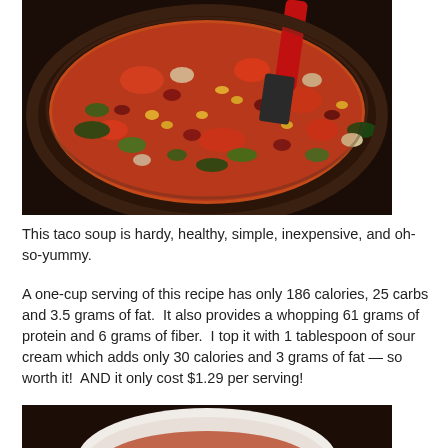[Figure (photo): A cast iron skillet filled with taco soup containing beans, corn, tomatoes, greens, and other vegetables, with a red-handled spatula resting in the pan.]
This taco soup is hardy, healthy, simple, inexpensive, and oh-so-yummy.
A one-cup serving of this recipe has only 186 calories, 25 carbs and 3.5 grams of fat.  It also provides a whopping 61 grams of protein and 6 grams of fiber.  I top it with 1 tablespoon of sour cream which adds only 30 calories and 3 grams of fat — so worth it!  AND it only cost $1.29 per serving!
[Figure (photo): A white bowl containing taco soup, partially visible at the bottom of the page.]